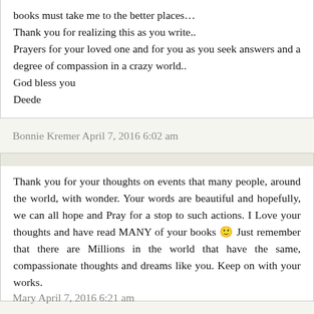books must take me to the better places… Thank you for realizing this as you write.. Prayers for your loved one and for you as you seek answers and a degree of compassion in a crazy world.. God bless you Deede
Bonnie Kremer April 7, 2016 6:02 am
Thank you for your thoughts on events that many people, around the world, with wonder. Your words are beautiful and hopefully, we can all hope and Pray for a stop to such actions. I Love your thoughts and have read MANY of your books 🙂 Just remember that there are Millions in the world that have the same, compassionate thoughts and dreams like you. Keep on with your works.
Mary April 7, 2016 6:21 am